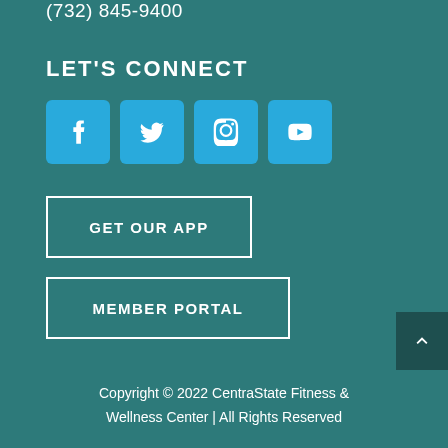(732) 845-9400
LET'S CONNECT
[Figure (other): Four social media icon buttons (Facebook, Twitter, Instagram, YouTube) in cyan/blue rounded squares]
GET OUR APP
MEMBER PORTAL
Copyright © 2022 CentraState Fitness & Wellness Center | All Rights Reserved